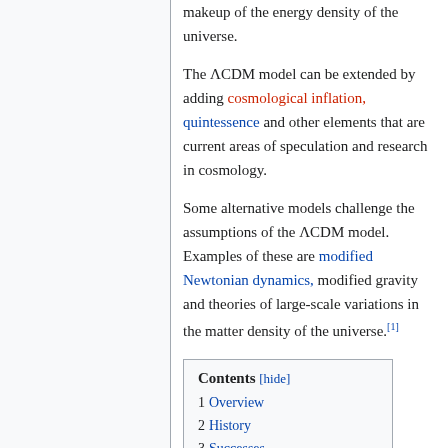makeup of the energy density of the universe.
The ΛCDM model can be extended by adding cosmological inflation, quintessence and other elements that are current areas of speculation and research in cosmology.
Some alternative models challenge the assumptions of the ΛCDM model. Examples of these are modified Newtonian dynamics, modified gravity and theories of large-scale variations in the matter density of the universe.[1]
| Contents [hide] |
| --- |
| 1 Overview |
| 2 History |
| 3 Successes |
| 4 Challenges |
| 5 Parameters |